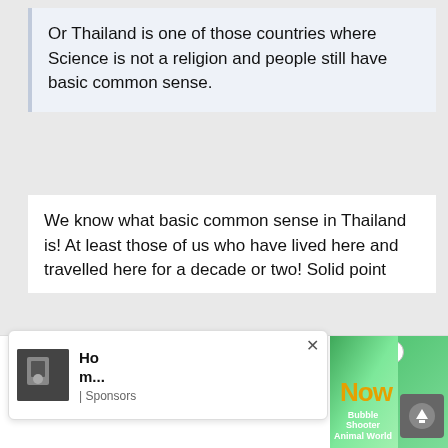Or Thailand is one of those countries where Science is not a religion and people still have basic common sense.
We know what basic common sense in Thailand is! At least those of us who have lived here and travelled here for a decade or two! Solid point
[Figure (screenshot): Like button with heart icon showing count of 1]
[Figure (screenshot): Bottom bar with close X button, notification popup showing 'Ho m...' with thumbnail and Sponsors label, game advertisement showing 'Now' text with bubble shooter game graphics and upload/back button]